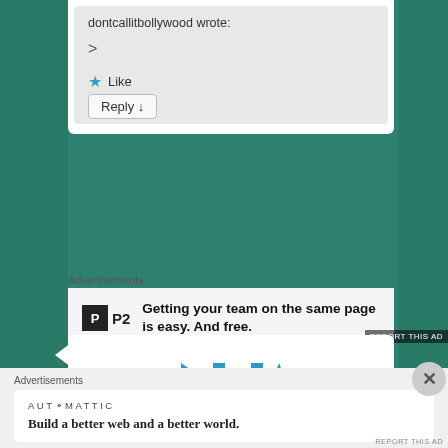dontcallitbollywood wrote:
>
★ Like
Reply ↓
Advertisements
[Figure (logo): P2 logo — square black icon with 'P2' text]
Getting your team on the same page is easy. And free.
REPORT THIS AD
[Figure (logo): KQHA logo with blue arrows and letters]
Advertisements
AUTOMATTIC
Build a better web and a better world.
REPORT THIS AD